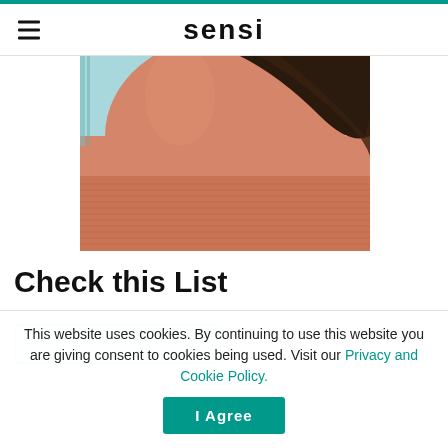sensi
[Figure (photo): Close-up photo of a woman's shoulder and neck area, wearing a salmon/peach ribbed top, with dark hair falling over shoulder, against a light blue background.]
Check this List
This website uses cookies. By continuing to use this website you are giving consent to cookies being used. Visit our Privacy and Cookie Policy.